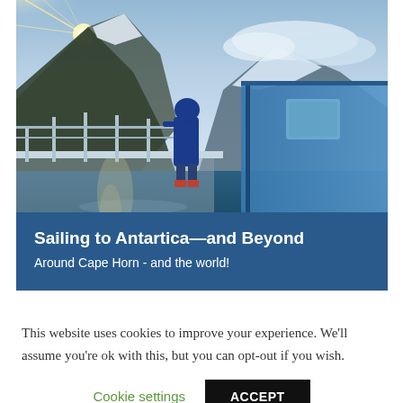[Figure (photo): A person in a blue jacket standing on the deck of a sailboat, looking out at calm water reflecting sunlight, with snow-capped mountains in the background. Photo shows the boat's railing and cabin structure. Blue-toned fjord or bay scene.]
Sailing to Antartica—and Beyond
Around Cape Horn - and the world!
This website uses cookies to improve your experience. We'll assume you're ok with this, but you can opt-out if you wish.
Cookie settings  ACCEPT